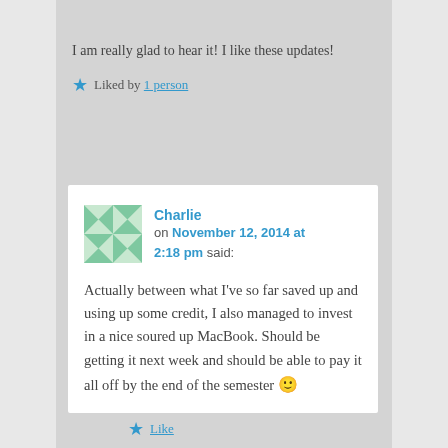I am really glad to hear it! I like these updates!
Liked by 1 person
Charlie on November 12, 2014 at 2:18 pm said:
Actually between what I've so far saved up and using up some credit, I also managed to invest in a nice soured up MacBook. Should be getting it next week and should be able to pay it all off by the end of the semester 🙂
Like